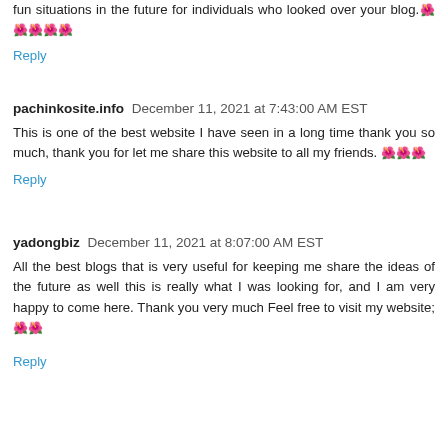fun situations in the future for individuals who looked over your blog.🌺🌺🌺🌺🌺
Reply
pachinkosite.info December 11, 2021 at 7:43:00 AM EST
This is one of the best website I have seen in a long time thank you so much, thank you for let me share this website to all my friends. 🌺🌺🌺
Reply
yadongbiz December 11, 2021 at 8:07:00 AM EST
All the best blogs that is very useful for keeping me share the ideas of the future as well this is really what I was looking for, and I am very happy to come here. Thank you very much Feel free to visit my website; 🌺🌺
Reply